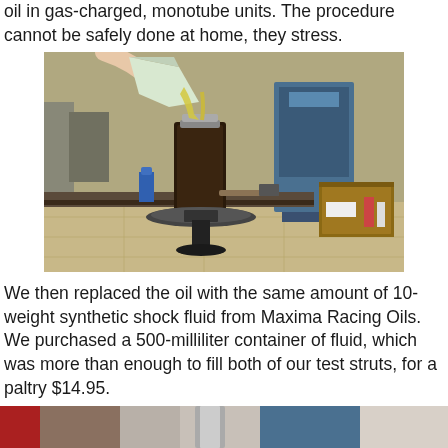oil in gas-charged, monotube units. The procedure cannot be safely done at home, they stress.
[Figure (photo): A person pouring yellowish oil from a plastic pitcher into a dark cylindrical shock absorber body mounted on a workbench in a workshop. Industrial equipment and wooden boxes are visible in the background.]
We then replaced the oil with the same amount of 10-weight synthetic shock fluid from Maxima Racing Oils. We purchased a 500-milliliter container of fluid, which was more than enough to fill both of our test struts, for a paltry $14.95.
[Figure (photo): Partial view of workshop scene at bottom of page, showing equipment and machinery.]